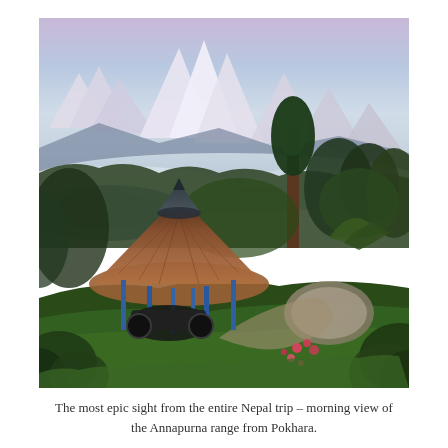[Figure (photo): Aerial/elevated view of a thatched-roof gazebo/shelter with blue metal poles in a lush green garden, overlooking Phewa Lake and the Annapurna mountain range in Pokhara, Nepal. Misty clouds surround the mountains in the background at dawn or early morning. Trees, flowers, and greenery surround the structure.]
The most epic sight from the entire Nepal trip – morning view of the Annapurna range from Pokhara.